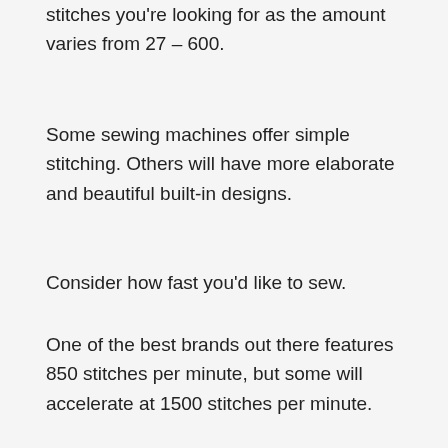stitches you're looking for as the amount varies from 27 – 600.
Some sewing machines offer simple stitching. Others will have more elaborate and beautiful built-in designs.
Consider how fast you'd like to sew.
One of the best brands out there features 850 stitches per minute, but some will accelerate at 1500 stitches per minute.